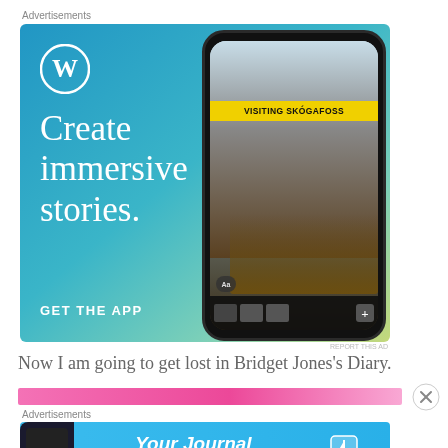Advertisements
[Figure (screenshot): WordPress advertisement: blue-green gradient background with WordPress logo, text 'Create immersive stories.' and 'GET THE APP', phone mockup showing waterfall photo with 'VISITING SKÓGAFOSS' yellow banner]
Now I am going to get lost in Bridget Jones's Diary.
[Figure (screenshot): Pink banner advertisement strip with close button]
Advertisements
[Figure (screenshot): DayOne app advertisement: blue background with phone mockup, text 'Your Journal for life' and DayOne logo with bookmark icon]